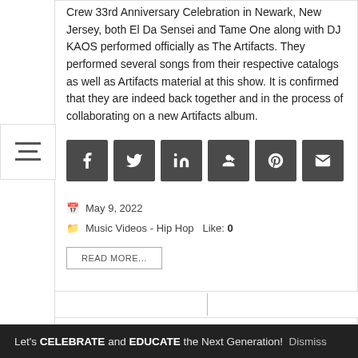Crew 33rd Anniversary Celebration in Newark, New Jersey, both El Da Sensei and Tame One along with DJ KAOS performed officially as The Artifacts. They performed several songs from their respective catalogs as well as Artifacts material at this show. It is confirmed that they are indeed back together and in the process of collaborating on a new Artifacts album.
[Figure (other): Row of six dark square social sharing buttons: Facebook, Twitter, LinkedIn, Google+, Pinterest, Email]
May 9, 2022
Music Videos - Hip Hop  Like: 0
READ MORE...
[Figure (photo): Partial image of next article card, warm orange/brown tones]
Let's CELEBRATE and EDUCATE the Next Generation!  Dismiss